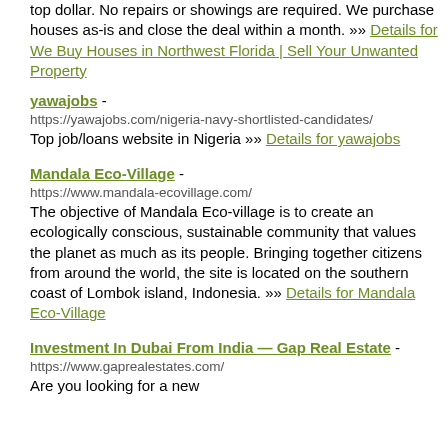top dollar. No repairs or showings are required. We purchase houses as-is and close the deal within a month. »» Details for We Buy Houses in Northwest Florida | Sell Your Unwanted Property
yawajobs - https://yawajobs.com/nigeria-navy-shortlisted-candidates/ Top job/loans website in Nigeria »» Details for yawajobs
Mandala Eco-Village - https://www.mandala-ecovillage.com/ The objective of Mandala Eco-village is to create an ecologically conscious, sustainable community that values the planet as much as its people. Bringing together citizens from around the world, the site is located on the southern coast of Lombok island, Indonesia. »» Details for Mandala Eco-Village
Investment In Dubai From India — Gap Real Estate - https://www.gaprealestates.com/ Are you looking for a new